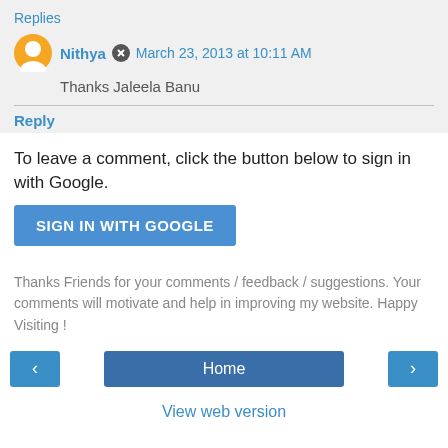Replies
Nithya  March 23, 2013 at 10:11 AM
Thanks Jaleela Banu
Reply
To leave a comment, click the button below to sign in with Google.
SIGN IN WITH GOOGLE
Thanks Friends for your comments / feedback / suggestions. Your comments will motivate and help in improving my website. Happy Visiting !
Home
View web version